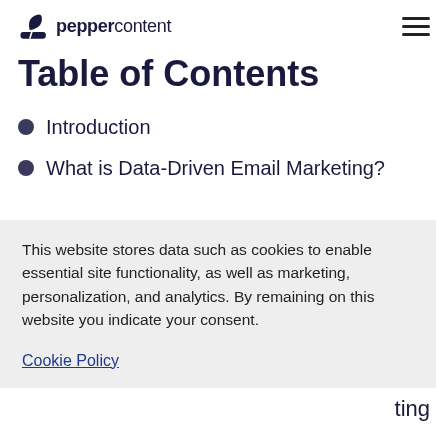peppercontent
Table of Contents
Introduction
What is Data-Driven Email Marketing?
This website stores data such as cookies to enable essential site functionality, as well as marketing, personalization, and analytics. By remaining on this website you indicate your consent.
Cookie Policy